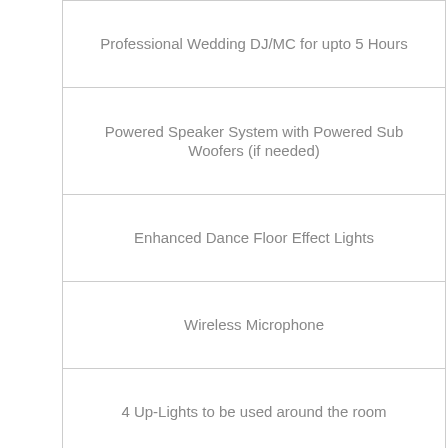Professional Wedding DJ/MC for upto 5 Hours
Powered Speaker System with Powered Sub Woofers (if needed)
Enhanced Dance Floor Effect Lights
Wireless Microphone
4 Up-Lights to be used around the room
Setup and Tear Down
All Announcements , Music Selections and Preliminary Consultations
Addons Available